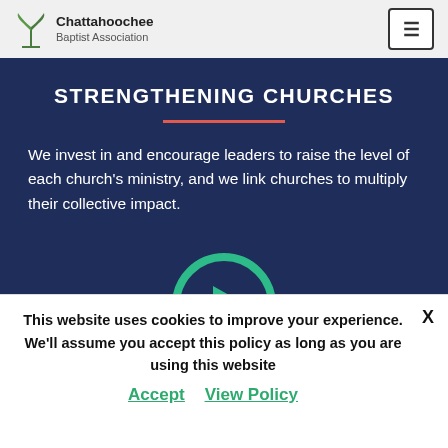Chattahoochee Baptist Association
STRENGTHENING CHURCHES
We invest in and encourage leaders to raise the level of each church's ministry, and we link churches to multiply their collective impact.
[Figure (illustration): Teal/green circular play button icon, partially visible at bottom of dark blue hero section]
This website uses cookies to improve your experience. We'll assume you accept this policy as long as you are using this website
Accept   View Policy